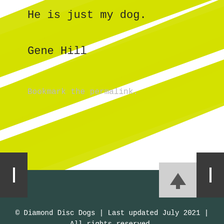He is just my dog.
Gene Hill
Bookmark the permalink.
[Figure (other): Diagonal yellow and white stripe pattern decorating the upper portion of the page]
[Figure (other): Navigation UI elements: left dark button with vertical bar, right dark button with vertical bar, and a light grey scroll-to-top button with upward arrow]
© Diamond Disc Dogs | Last updated July 2021 | All rights reserved.